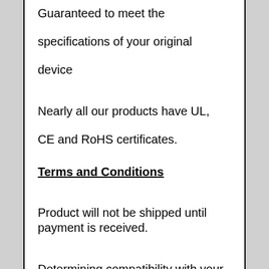Guaranteed to meet the specifications of your original device
Nearly all our products have UL, CE and RoHS certificates.
Terms and Conditions
Product will not be shipped until payment is received.
Determining compatibility with your existing parts, hardware, and/or